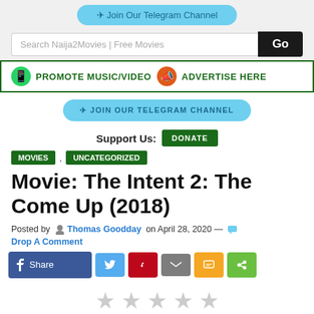✈ Join Our Telegram Channel
Search Naija2Movies | Free Movies Go
PROMOTE MUSIC/VIDEO   ADVERTISE HERE
✈ JOIN OUR TELEGRAM CHANNEL
Support Us: DONATE
MOVIES , UNCATEGORIZED
Movie: The Intent 2: The Come Up (2018)
Posted by Thomas Goodday on April 28, 2020 — Drop A Comment
Share (social share buttons)
[Figure (other): Five grey star rating icons]